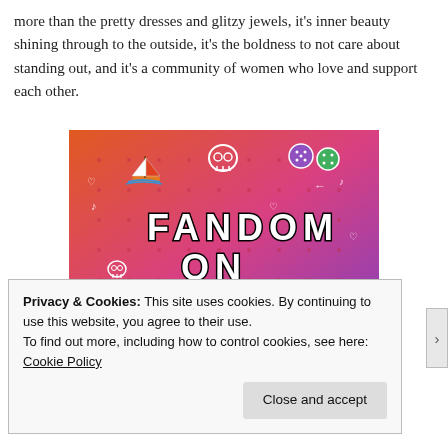more than the pretty dresses and glitzy jewels, it's inner beauty shining through to the outside, it's the boldness to not care about standing out, and it's a community of women who love and support each other.
[Figure (illustration): Colorful illustration with orange-to-purple gradient background featuring doodles (skull, sailboat, music notes, dice, arrows, etc.) and bold text reading 'FANDOM ON tumblr']
Privacy & Cookies: This site uses cookies. By continuing to use this website, you agree to their use.
To find out more, including how to control cookies, see here: Cookie Policy